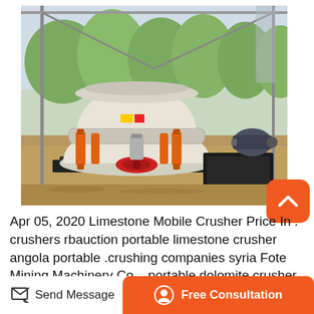[Figure (photo): Photograph of a large white cone crusher / mining machine with orange hydraulic cylinders and red wheel hub, sitting on a steel frame inside an industrial shed. Trees visible in background. An electric motor sits on a platform to the right.]
Apr 05, 2020 Limestone Mobile Crusher Price In . crushers rbauction portable limestone crusher angola portable .crushing companies syria Fote Mining Machinery Co. . portable dolomite crusher provider in indonessia. portable crushing machine
Send Message   Free Consultation